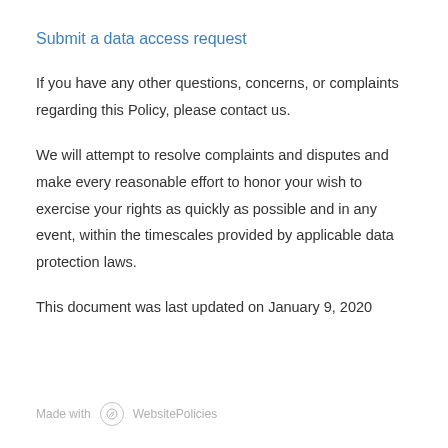Submit a data access request
If you have any other questions, concerns, or complaints regarding this Policy, please contact us.
We will attempt to resolve complaints and disputes and make every reasonable effort to honor your wish to exercise your rights as quickly as possible and in any event, within the timescales provided by applicable data protection laws.
This document was last updated on January 9, 2020
Made with WebsitePolicies